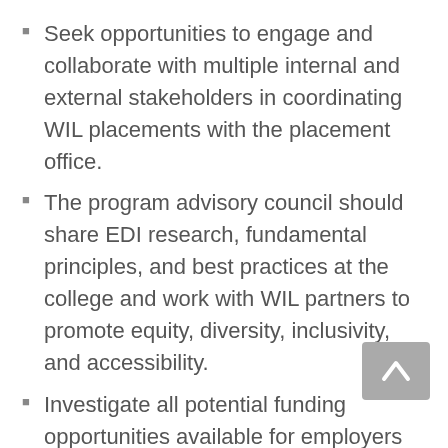Seek opportunities to engage and collaborate with multiple internal and external stakeholders in coordinating WIL placements with the placement office.
The program advisory council should share EDI research, fundamental principles, and best practices at the college and work with WIL partners to promote equity, diversity, inclusivity, and accessibility.
Investigate all potential funding opportunities available for employers and participants (e.g., STEP program